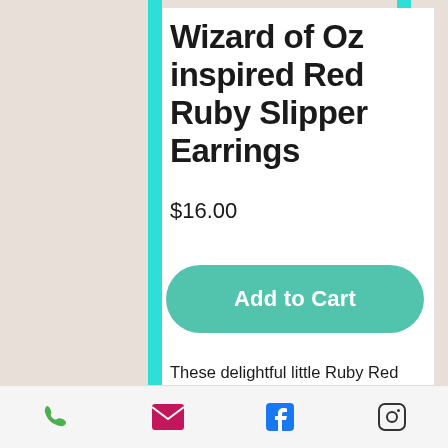Wizard of Oz inspired Red Ruby Slipper Earrings
$16.00
[Figure (other): Add to Cart button - teal/green rounded rectangle button with white bold text]
These delightful little Ruby Red Slipper earrings are lightweight and measure half an inch. Earrings are nickel and lead free.
We understand online shopping can be difficult. It's sometimes hard to get a true idea of the product online from a limited
[Figure (other): Bottom navigation bar with phone, email, Facebook, and Instagram icons]